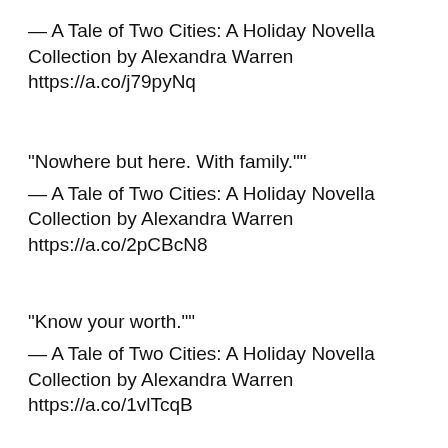— A Tale of Two Cities: A Holiday Novella Collection by Alexandra Warren https://a.co/j79pyNq
“Nowhere but here. With family.””
— A Tale of Two Cities: A Holiday Novella Collection by Alexandra Warren https://a.co/2pCBcN8
“Know your worth.””
— A Tale of Two Cities: A Holiday Novella Collection by Alexandra Warren https://a.co/1vlTcqB